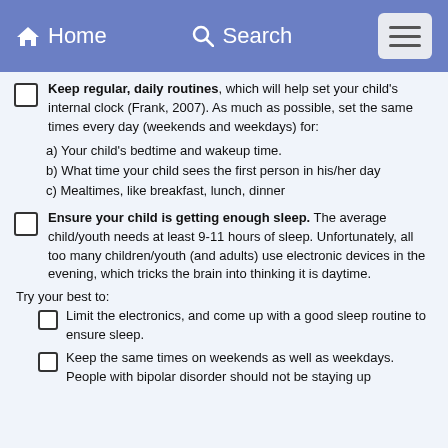Home  Search  [Menu]
Keep regular, daily routines, which will help set your child's internal clock (Frank, 2007). As much as possible, set the same times every day (weekends and weekdays) for:
a) Your child's bedtime and wakeup time.
b) What time your child sees the first person in his/her day
c) Mealtimes, like breakfast, lunch, dinner
Ensure your child is getting enough sleep. The average child/youth needs at least 9-11 hours of sleep. Unfortunately, all too many children/youth (and adults) use electronic devices in the evening, which tricks the brain into thinking it is daytime.
Try your best to:
Limit the electronics, and come up with a good sleep routine to ensure sleep.
Keep the same times on weekends as well as weekdays. People with bipolar disorder should not be staying up